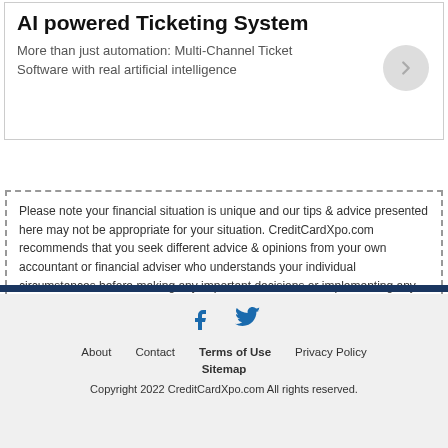AI powered Ticketing System
More than just automation: Multi-Channel Ticket Software with real artificial intelligence
Please note your financial situation is unique and our tips & advice presented here may not be appropriate for your situation. CreditCardXpo.com recommends that you seek different advice & opinions from your own accountant or financial adviser who understands your individual circumstances before making any important decisions or implementing any financial strategy.
About   Contact   Terms of Use   Privacy Policy   Sitemap   Copyright 2022 CreditCardXpo.com All rights reserved.